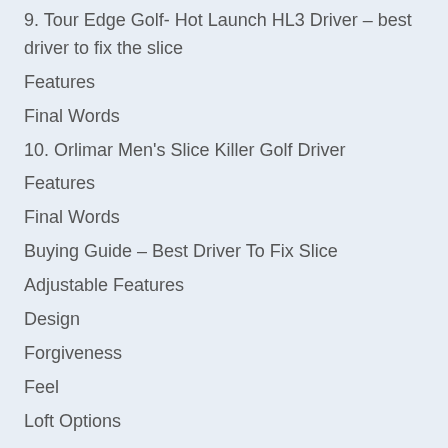9. Tour Edge Golf- Hot Launch HL3 Driver – best driver to fix the slice
Features
Final Words
10. Orlimar Men's Slice Killer Golf Driver
Features
Final Words
Buying Guide – Best Driver To Fix Slice
Adjustable Features
Design
Forgiveness
Feel
Loft Options
Face Angle
Offset
Driver Weight Distribution
Driver Shaft Flex
Frequently Asked Questions